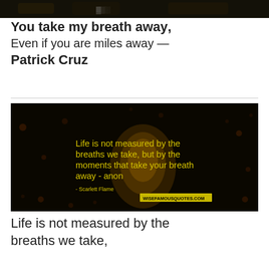[Figure (photo): Dark image strip at top of page, partially cropped]
You take my breath away, Even if you are miles away — Patrick Cruz
[Figure (photo): Dark background with bokeh lights and a sky lantern. Yellow text overlay reads: 'Life is not measured by the breaths we take, but by the moments that take your breath away - anon' with attribution '- Scarlett Flame' and watermark 'wisefamousquotes.com']
Life is not measured by the breaths we take,